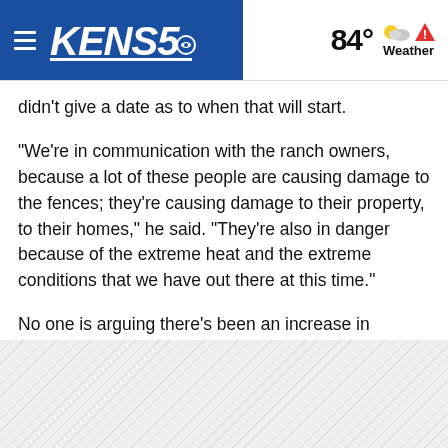KENS5 — 84° Weather
didn't give a date as to when that will start.
“We’re in communication with the ranch owners, because a lot of these people are causing damage to the fences; they're causing damage to their property, to their homes,” he said. “They're also in danger because of the extreme heat and the extreme conditions that we have out there at this time.”
No one is arguing there’s been an increase in migrant crossings; the latest federal numbers show there’s been a 37% jump in March compared to February when it comes to individuals only crossing once.